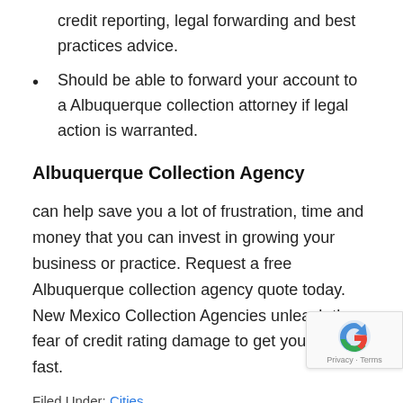credit reporting, legal forwarding and best practices advice.
Should be able to forward your account to a Albuquerque collection attorney if legal action is warranted.
Albuquerque Collection Agency
can help save you a lot of frustration, time and money that you can invest in growing your business or practice. Request a free Albuquerque collection agency quote today. New Mexico Collection Agencies unleash the fear of credit rating damage to get your money fast.
Filed Under: Cities